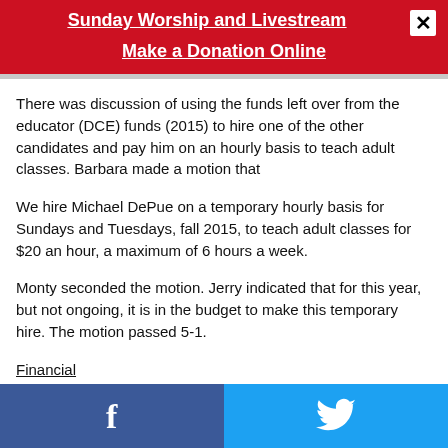Sunday Worship and Livestream
Make a Donation Online
There was discussion of using the funds left over from the educator (DCE) funds (2015) to hire one of the other candidates and pay him on an hourly basis to teach adult classes. Barbara made a motion that
We hire Michael DePue on a temporary hourly basis for Sundays and Tuesdays, fall 2015, to teach adult classes for $20 an hour, a maximum of 6 hours a week.
Monty seconded the motion. Jerry indicated that for this year, but not ongoing, it is in the budget to make this temporary hire. The motion passed 5-1.
Financial
Facebook | Twitter